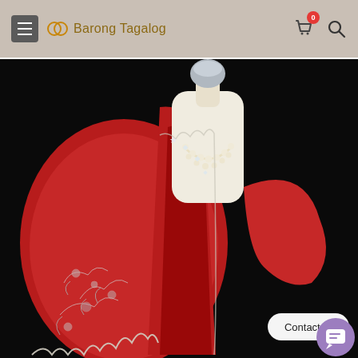Barong Tagalog
[Figure (photo): A red embroidered Filipino Barong Tagalog garment displayed on a white mannequin torso against a black background. The garment features intricate silver beadwork and lace embroidery with floral motifs. A pearl necklace is draped on the mannequin. A 'Contact us' button and a chat bubble icon are visible in the lower right corner.]